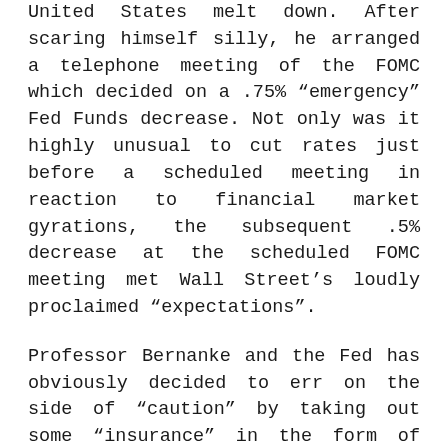United States melt down. After scaring himself silly, he arranged a telephone meeting of the FOMC which decided on a .75% “emergency” Fed Funds decrease. Not only was it highly unusual to cut rates just before a scheduled meeting in reaction to financial market gyrations, the subsequent .5% decrease at the scheduled FOMC meeting met Wall Street’s loudly proclaimed “expectations”.
Professor Bernanke and the Fed has obviously decided to err on the side of “caution” by taking out some “insurance” in the form of monetary stimulus. The monetary stimulus is being accompanied by fiscal stimulus as well. The hastily created “Stimulus Package” of tax cuts being rushed through Congress also smacks of desperation and the unwillingness of